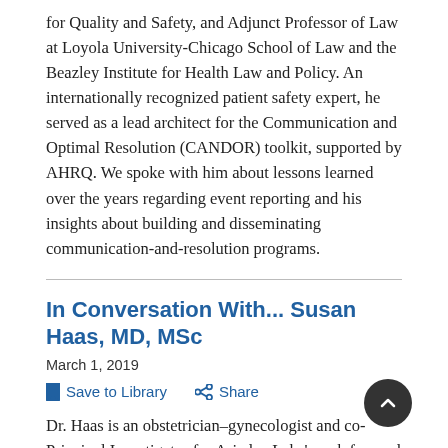for Quality and Safety, and Adjunct Professor of Law at Loyola University-Chicago School of Law and the Beazley Institute for Health Law and Policy. An internationally recognized patient safety expert, he served as a lead architect for the Communication and Optimal Resolution (CANDOR) toolkit, supported by AHRQ. We spoke with him about lessons learned over the years regarding event reporting and his insights about building and disseminating communication-and-resolution programs.
In Conversation With... Susan Haas, MD, MSc
March 1, 2019
Save to Library   Share
Dr. Haas is an obstetrician–gynecologist and co-Principal Investigator for Ariadne Labs' work focused on health care system expansion. We spok...